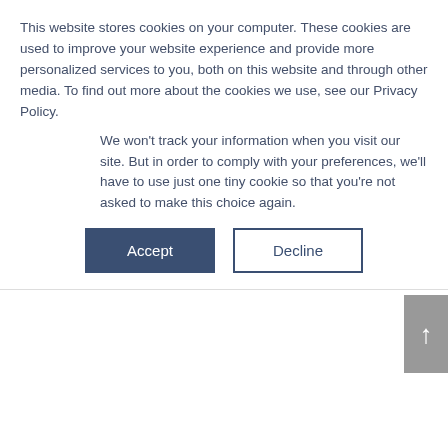This website stores cookies on your computer. These cookies are used to improve your website experience and provide more personalized services to you, both on this website and through other media. To find out more about the cookies we use, see our Privacy Policy.
We won't track your information when you visit our site. But in order to comply with your preferences, we'll have to use just one tiny cookie so that you're not asked to make this choice again.
Accept
Decline
REDUCE HYDROGEN SULFIDE & CORROSION LEVELS WITH HISTOSOL